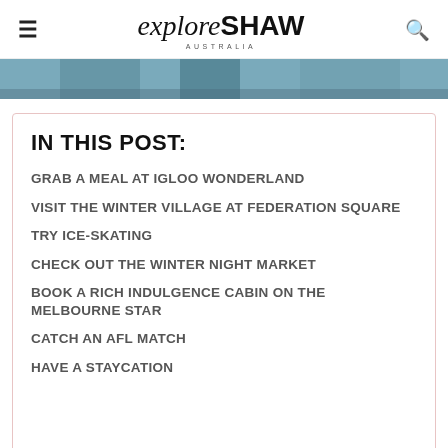explore SHAW AUSTRALIA
[Figure (photo): Partial photo strip showing a wooden deck or architectural structure with blue tones]
IN THIS POST:
GRAB A MEAL AT IGLOO WONDERLAND
VISIT THE WINTER VILLAGE AT FEDERATION SQUARE
TRY ICE-SKATING
CHECK OUT THE WINTER NIGHT MARKET
BOOK A RICH INDULGENCE CABIN ON THE MELBOURNE STAR
CATCH AN AFL MATCH
HAVE A STAYCATION